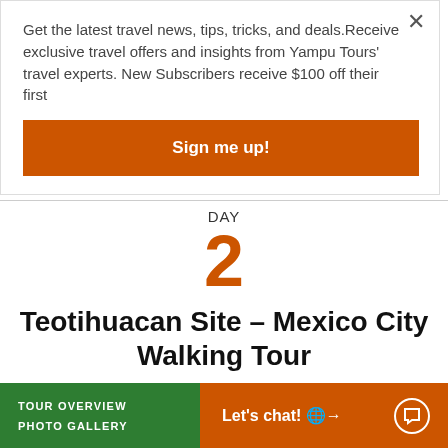Get the latest travel news, tips, tricks, and deals.Receive exclusive travel offers and insights from Yampu Tours' travel experts. New Subscribers receive $100 off their first
Sign me up!
DAY
2
Teotihuacan Site – Mexico City Walking Tour
Today, will be a full day dedicated to the visit of the city and the archaeological zone of Teotihuacan. Among the planned visits are the "Zocalo" (the main esplanade with its Cathedral and the
TOUR OVERVIEW   PHOTO GALLERY
Let's chat! →